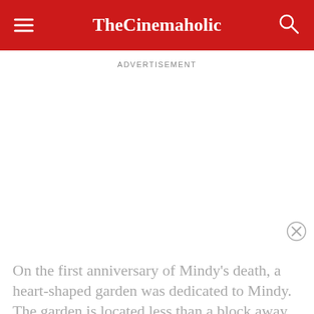TheCinemaholic
ADVERTISEMENT
On the first anniversary of Mindy's death, a heart-shaped garden was dedicated to Mindy. The garden is located less than a block away from Mindy's apartment. Mi...